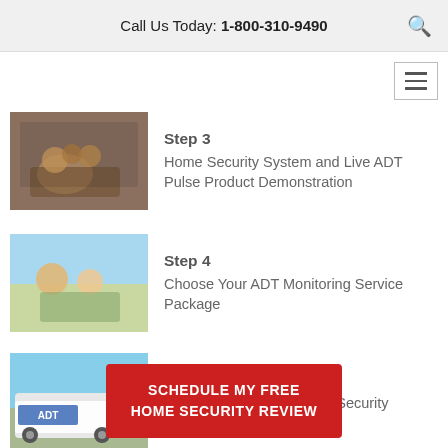Call Us Today: 1-800-310-9490
Step 3
Home Security System and Live ADT Pulse Product Demonstration
Step 4
Choose Your ADT Monitoring Service Package
Step 5
Schedule Your ADT Home Security Installation
SCHEDULE MY FREE HOME SECURITY REVIEW